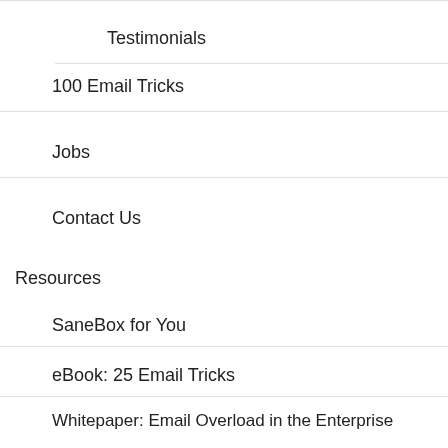Testimonials
100 Email Tricks
Jobs
Contact Us
Resources
SaneBox for You
eBook: 25 Email Tricks
Whitepaper: Email Overload in the Enterprise
Inbox Zero Academy